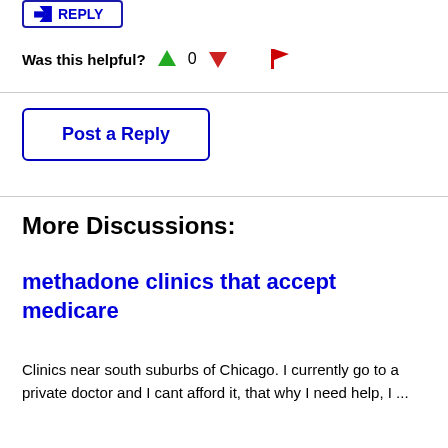[Figure (other): Partial reply button at top with blue border showing reply icon and label]
Was this helpful?  0
[Figure (other): Post a Reply button with blue border and blue bold text]
More Discussions:
methadone clinics that accept medicare
Clinics near south suburbs of Chicago. I currently go to a private doctor and I cant afford it, that why I need help, I ...